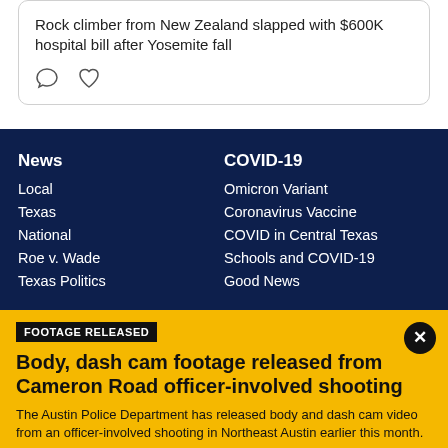Rock climber from New Zealand slapped with $600K hospital bill after Yosemite fall
[Figure (other): Comment icon (speech bubble outline)]
[Figure (other): Like/heart icon (heart outline)]
News
Local
Texas
National
Roe v. Wade
Texas Politics
COVID-19
Omicron Variant
Coronavirus Vaccine
COVID in Central Texas
Schools and COVID-19
Good News
FOOTAGE RELEASED
Body, dash cam footage released from Cameron Road officer-involved shooting
The Austin Police Department has released body and dash cam video from an officer-involved shooting in Northeast Austin earlier this month.